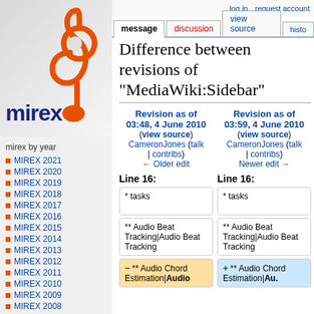[Figure (logo): MIREX logo with orange treble clef and dark blue 'mirex' text on gray gradient background]
mirex by year
MIREX 2021
MIREX 2020
MIREX 2019
MIREX 2018
MIREX 2017
MIREX 2016
MIREX 2015
MIREX 2014
MIREX 2013
MIREX 2012
MIREX 2011
MIREX 2010
MIREX 2009
MIREX 2008
MIREX 2007
log in   request account
Difference between revisions of "MediaWiki:Sidebar"
Revision as of 03:48, 4 June 2010 (view source) CameronJones (talk | contribs) ← Older edit
Revision as of 03:59, 4 June 2010 (view source) CameronJones (talk | contribs) Newer edit →
Line 16:
* tasks
* tasks
** Audio Beat Tracking|Audio Beat Tracking
** Audio Beat Tracking|Audio Beat Tracking
** Audio Chord Estimation|Audio
** Audio Chord Estimation|Au.